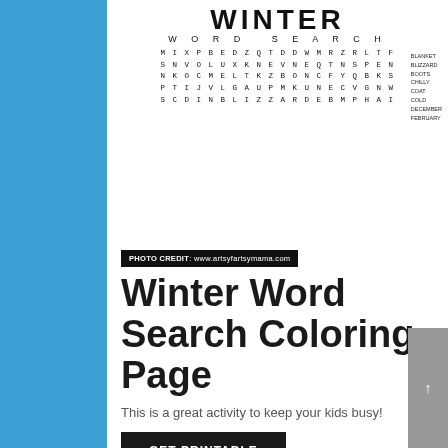[Figure (illustration): Winter Word Search coloring page printable with 'WINTER WORD SEARCH' title in block letters and a grid of letters with word list on the right side. Blue glitter border on the sides.]
PHOTO CREDIT: www.artsyfartsymama.com
Winter Word Search Coloring Page
This is a great activity to keep your kids busy!
GET PRINTABLE